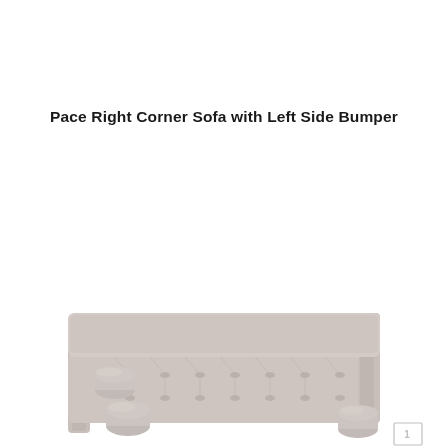Pace Right Corner Sofa with Left Side Bumper
[Figure (photo): Partial top-down view of a light gray/beige upholstered corner sofa (Pace Right Corner Sofa with Left Side Bumper), showing the seat cushion with button tufting, cylindrical bolster pillows on the left arm, and side panels. A small logo badge is visible in the bottom right corner.]